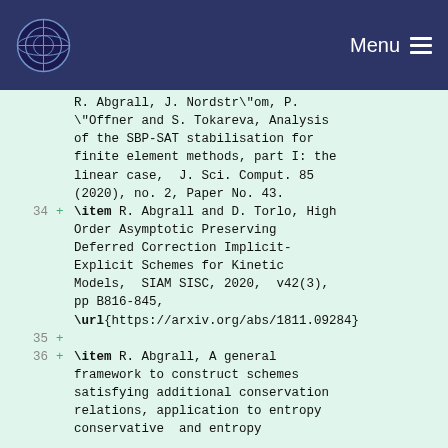Menu
R. Abgrall, J. Nordstr\"om, P. \"Offner and S. Tokareva, Analysis of the SBP-SAT stabilisation for finite element methods, part I: the linear case,  J. Sci. Comput. 85 (2020), no. 2, Paper No. 43.
34 + \item R. Abgrall and D. Torlo, High Order Asymptotic Preserving Deferred Correction Implicit-Explicit Schemes for Kinetic Models,  SIAM SISC, 2020,  v42(3), pp B816-845, \url{https://arxiv.org/abs/1811.09284}
35 +
36 + \item R. Abgrall, A general framework to construct schemes satisfying additional conservation relations, application to entropy conservative  and entropy